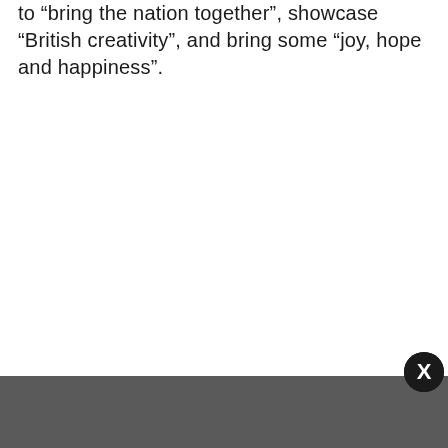to “bring the nation together”, showcase “British creativity”, and bring some “joy, hope and happiness”.